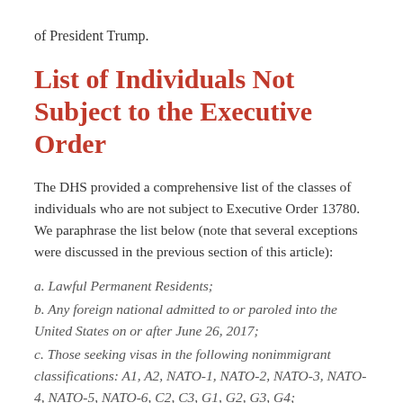of President Trump.
List of Individuals Not Subject to the Executive Order
The DHS provided a comprehensive list of the classes of individuals who are not subject to Executive Order 13780. We paraphrase the list below (note that several exceptions were discussed in the previous section of this article):
a. Lawful Permanent Residents;
b. Any foreign national admitted to or paroled into the United States on or after June 26, 2017;
c. Those seeking visas in the following nonimmigrant classifications: A1, A2, NATO-1, NATO-2, NATO-3, NATO-4, NATO-5, NATO-6, C2, C3, G1, G2, G3, G4;
d. Any foreign national who has already been granted asylum, any refugee who has already been admitted into